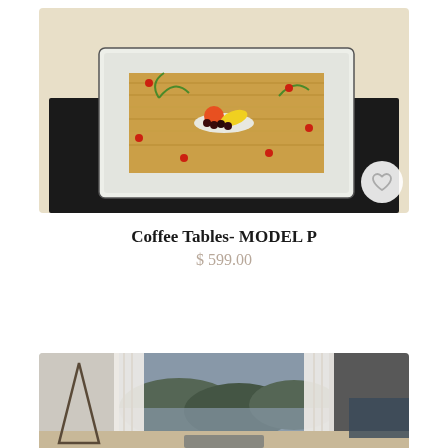[Figure (photo): A white rectangular coffee table with a glass top, sitting on a black rug. The table has a wooden interior visible through the glass, with a bowl of fruits (apples, bananas, cherries) and some plant sprigs on top. Small red berries are scattered on the glass surface.]
Coffee Tables- MODEL P
$ 599.00
[Figure (photo): A modern living room with floor-to-ceiling windows showing a scenic lake and forested hillside view. White sheer curtains frame the windows. A triangular floor lamp is visible on the left. Dark furniture (sofa) is partially visible on the right.]